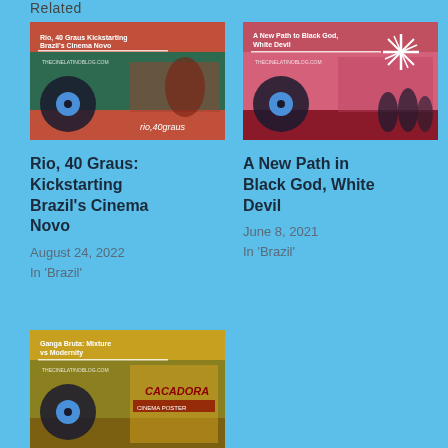Related
[Figure (illustration): Blog post thumbnail for 'Rio, 40 Graus: Kickstarting Brazil's Cinema Novo' showing green and terracotta colored graphic with vinyl record and figures]
Rio, 40 Graus: Kickstarting Brazil's Cinema Novo
August 24, 2022
In 'Brazil'
[Figure (illustration): Blog post thumbnail for 'A New Path in Black God, White Devil' showing pink/salmon colored graphic with vinyl record and silhouetted figures]
A New Path in Black God, White Devil
June 8, 2021
In 'Brazil'
[Figure (illustration): Blog post thumbnail for 'Ganga Bruta' showing olive/tan colored graphic with vintage film poster imagery]
Ganga Bruta: